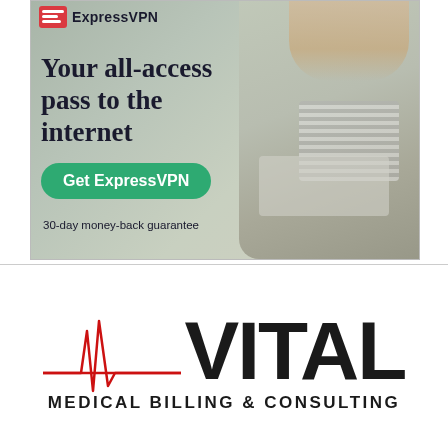[Figure (screenshot): ExpressVPN advertisement showing a woman sitting with a laptop, with headline 'Your all-access pass to the internet', a green 'Get ExpressVPN' button, and '30-day money-back guarantee' text]
[Figure (logo): Vital Medical Billing & Consulting logo with red heartbeat/ECG line graphic on white background]